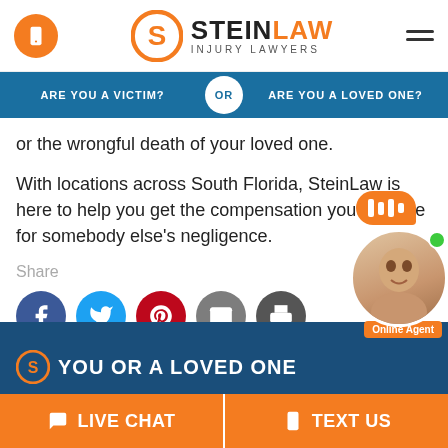[Figure (logo): SteinLaw Injury Lawyers logo with orange S circle graphic and phone icon]
[Figure (infographic): Navigation bar with 'ARE YOU A VICTIM?' and 'ARE YOU A LOVED ONE?' options separated by OR button]
or the wrongful death of your loved one.
With locations across South Florida, SteinLaw is here to help you get the compensation you deserve for somebody else's negligence.
Share
[Figure (infographic): Social share icons: Facebook, Twitter, Pinterest, Email, Print]
[Figure (infographic): Online Agent chat widget with woman photo, chat bubble, and Online Agent badge]
[Figure (infographic): Bottom banner with YOU OR A LOVED ONE text over dark blue background]
[Figure (infographic): CTA bar with LIVE CHAT and TEXT US orange buttons]